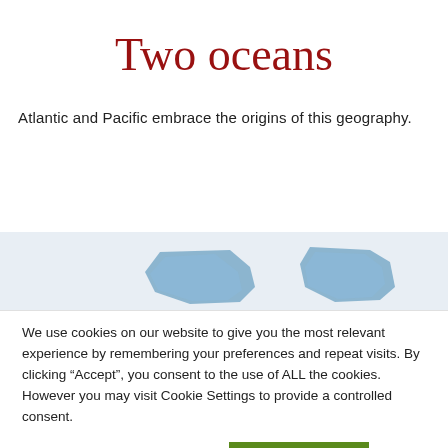Two oceans
Atlantic and Pacific embrace the origins of this geography.
[Figure (map): Partial map showing two blue landmass/ocean shapes on a light grey background strip, partially cropped]
We use cookies on our website to give you the most relevant experience by remembering your preferences and repeat visits. By clicking “Accept”, you consent to the use of ALL the cookies. However you may visit Cookie Settings to provide a controlled consent.
Cookie settings
ACCEPT